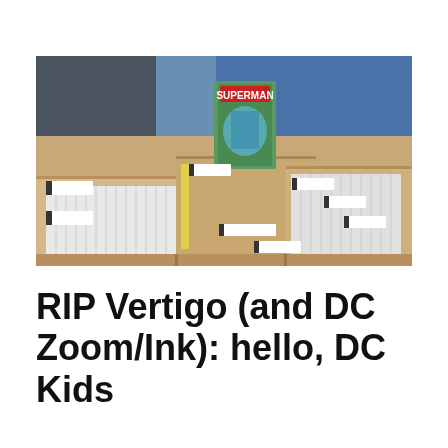[Figure (photo): A person in a blue jacket browses comic books in cardboard long boxes at what appears to be a comic convention or store. A Superman comic is being pulled out from the box. Multiple rows of bagged and boarded comics are visible with divider tabs.]
RIP Vertigo (and DC Zoom/Ink): hello, DC Kids